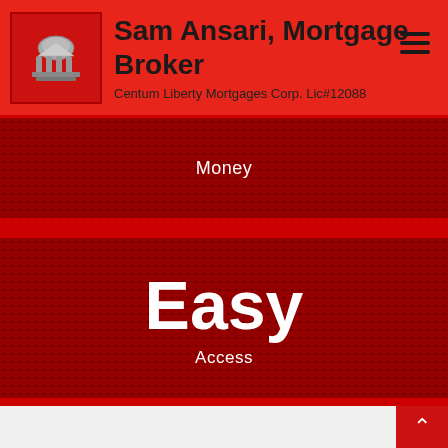Sam Ansari, Mortgage Broker — Centum Liberty Mortgages Corp. Lic#12088
[Figure (logo): Grey/silver building/institution icon on dark red square background]
Sam Ansari, Mortgage Broker
Centum Liberty Mortgages Corp. Lic#12088
Money
Easy
Access